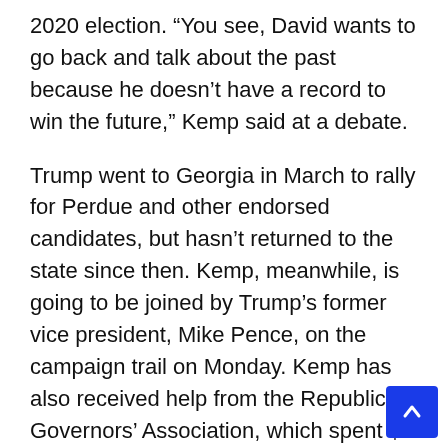2020 election. “You see, David wants to go back and talk about the past because he doesn’t have a record to win the future,” Kemp said at a debate.
Trump went to Georgia in March to rally for Perdue and other endorsed candidates, but hasn’t returned to the state since then. Kemp, meanwhile, is going to be joined by Trump’s former vice president, Mike Pence, on the campaign trail on Monday. Kemp has also received help from the Republican Governors’ Association, which spent $5 million helping the incumbent governor.
Trump spokesperson Taylor Budowich claimed Trump “salvaged” Pence’s political career and